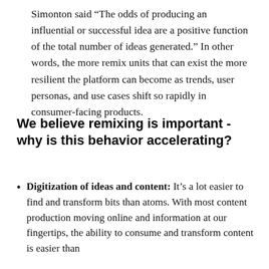Simonton said “The odds of producing an influential or successful idea are a positive function of the total number of ideas generated.” In other words, the more remix units that can exist the more resilient the platform can become as trends, user personas, and use cases shift so rapidly in consumer-facing products.
We believe remixing is important - why is this behavior accelerating?
Digitization of ideas and content: It’s a lot easier to find and transform bits than atoms. With most content production moving online and information at our fingertips, the ability to consume and transform content is easier than